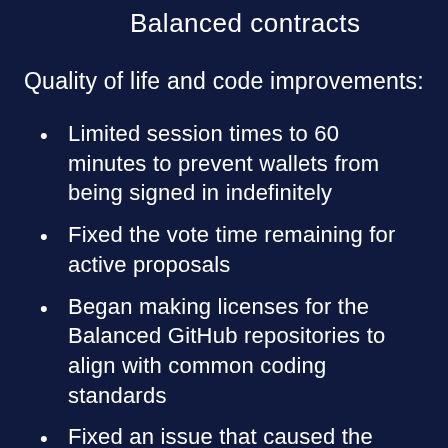Balanced contracts
Quality of life and code improvements:
Limited session times to 60 minutes to prevent wallets from being signed in indefinitely
Fixed the vote time remaining for active proposals
Began making licenses for the Balanced GitHub repositories to align with common coding standards
Fixed an issue that caused the